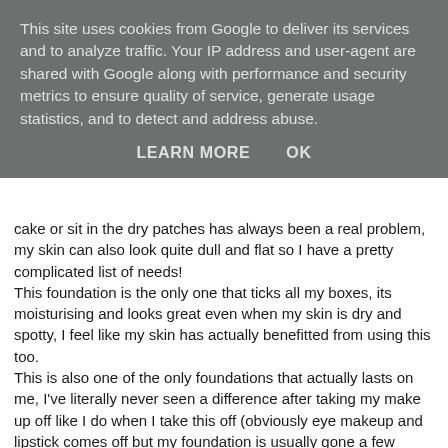This site uses cookies from Google to deliver its services and to analyze traffic. Your IP address and user-agent are shared with Google along with performance and security metrics to ensure quality of service, generate usage statistics, and to detect and address abuse.
LEARN MORE    OK
cake or sit in the dry patches has always been a real problem, my skin can also look quite dull and flat so I have a pretty complicated list of needs!
This foundation is the only one that ticks all my boxes, its moisturising and looks great even when my skin is dry and spotty, I feel like my skin has actually benefitted from using this too.
This is also one of the only foundations that actually lasts on me, I've literally never seen a difference after taking my make up off like I do when I take this off (obviously eye makeup and lipstick comes off but my foundation is usually gone a few hours before cleansing!)
It's a really light formula but I wouldn't say light coverage as the impressive science behind this seems to blur and